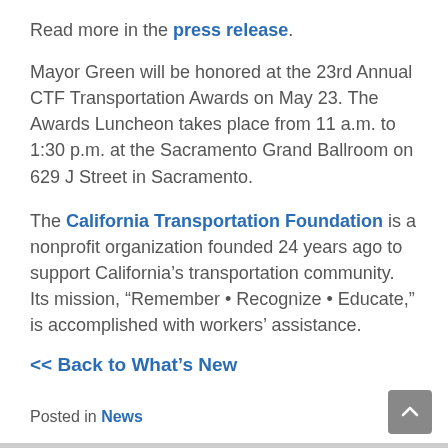Read more in the press release.
Mayor Green will be honored at the 23rd Annual CTF Transportation Awards on May 23. The Awards Luncheon takes place from 11 a.m. to 1:30 p.m. at the Sacramento Grand Ballroom on 629 J Street in Sacramento.
The California Transportation Foundation is a nonprofit organization founded 24 years ago to support California's transportation community. Its mission, “Remember • Recognize • Educate,” is accomplished with workers’ assistance.
<< Back to What’s New
Posted in News